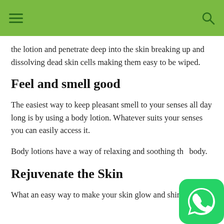the lotion and penetrate deep into the skin breaking up and dissolving dead skin cells making them easy to be wiped.
Feel and smell good
The easiest way to keep pleasant smell to your senses all day long is by using a body lotion. Whatever suits your senses you can easily access it.
Body lotions have a way of relaxing and soothing the body.
Rejuvenate the Skin
What an easy way to make your skin glow and shimmer
[Figure (logo): WhatsApp logo icon — green rounded square with white phone/chat icon]